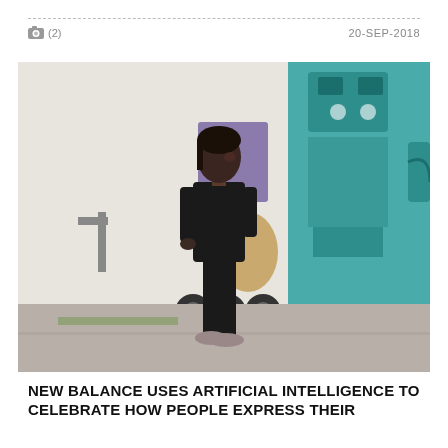📷 (2)   20-SEP-2018
[Figure (photo): A woman dressed in all black athletic wear (jacket and leggings) with grey sneakers stands in front of a colorful mural on a white wall. The mural features bold cartoon-style geometric figures in teal, purple, tan, and black. She is standing on a paved outdoor surface and glancing to the side.]
NEW BALANCE USES ARTIFICIAL INTELLIGENCE TO CELEBRATE HOW PEOPLE EXPRESS THEIR